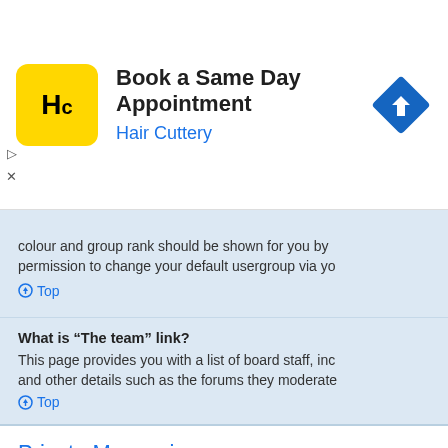[Figure (infographic): Hair Cuttery advertisement banner with yellow logo, title 'Book a Same Day Appointment', company name 'Hair Cuttery', and a blue diamond navigation arrow icon]
colour and group rank should be shown for you by permission to change your default usergroup via yo
Top
What is “The team” link?
This page provides you with a list of board staff, inc and other details such as the forums they moderate
Top
Private Messaging
I cannot send private messages!
There are three reasons for this; you are not regist administrator has disabled private messaging for th prevented you from sending messages. Contact a
Top